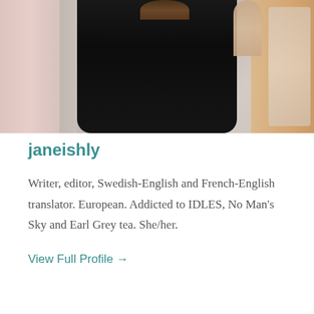[Figure (photo): A person wearing a black outfit taking a mirror selfie. Pink curtain visible on the left side, orange/peach curtain on the right. Warm interior setting.]
janeishly
Writer, editor, Swedish-English and French-English translator. European. Addicted to IDLES, No Man's Sky and Earl Grey tea. She/her.
View Full Profile →